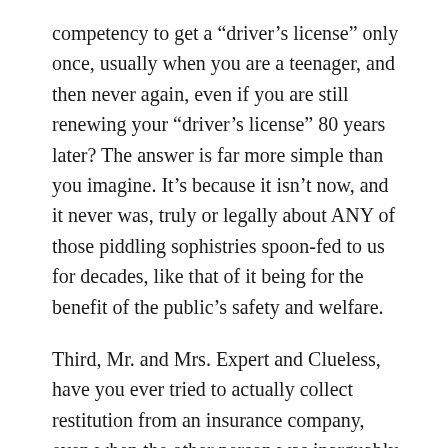competency to get a “driver’s license” only once, usually when you are a teenager, and then never again, even if you are still renewing your “driver’s license” 80 years later? The answer is far more simple than you imagine. It’s because it isn’t now, and it never was, truly or legally about ANY of those piddling sophistries spoon-fed to us for decades, like that of it being for the benefit of the public’s safety and welfare.
Third, Mr. and Mrs. Expert and Clueless, have you ever tried to actually collect restitution from an insurance company, even when the other person was inarguably and indefensibly at fault in the accident? I can’t speak for how it actually works everywhere else, but in Texas, the laws are specifically written to protect the profits of the insurance company from liability and not you, the injured party. Here, an insurance company is not required to pay a claim first and then dispute it if they can show that